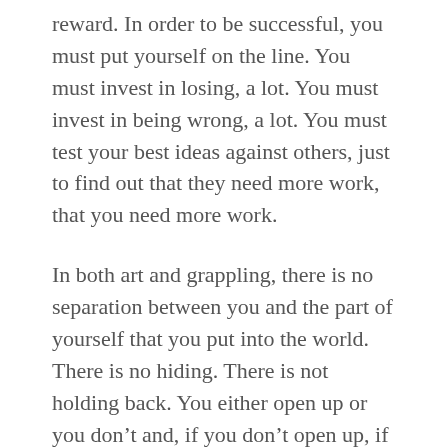reward. In order to be successful, you must put yourself on the line. You must invest in losing, a lot. You must invest in being wrong, a lot. You must test your best ideas against others, just to find out that they need more work, that you need more work.
In both art and grappling, there is no separation between you and the part of yourself that you put into the world. There is no hiding. There is not holding back. You either open up or you don’t and, if you don’t open up, if you don’t take risks, you may be showing up, but you aren’t really showing up and it isn’t enough.
There is no lying in art or grappling. Your truth will be exposed. You will be exposed. If you do not like what you find when your truth is in the open, you can deny it. You can hide. You can quit. If you do, you will...